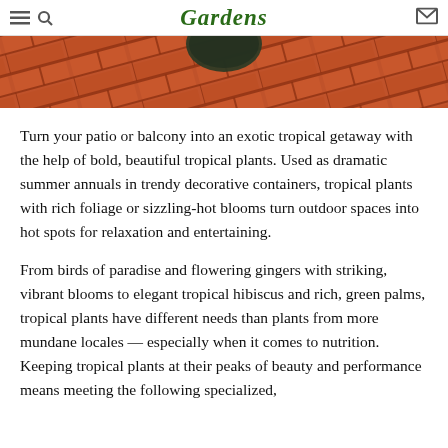Gardens
[Figure (photo): A photo showing terracotta brick tiles with a dark green pot/object visible, taken from above at an angle.]
Turn your patio or balcony into an exotic tropical getaway with the help of bold, beautiful tropical plants. Used as dramatic summer annuals in trendy decorative containers, tropical plants with rich foliage or sizzling-hot blooms turn outdoor spaces into hot spots for relaxation and entertaining.
From birds of paradise and flowering gingers with striking, vibrant blooms to elegant tropical hibiscus and rich, green palms, tropical plants have different needs than plants from more mundane locales — especially when it comes to nutrition. Keeping tropical plants at their peaks of beauty and performance means meeting the following specialized,